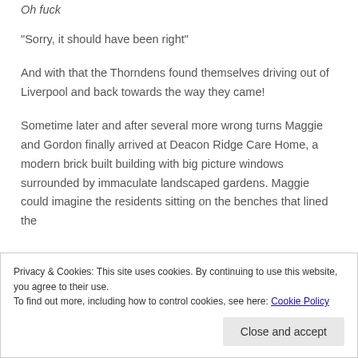Oh fuck
“Sorry, it should have been right”
And with that the Thorndens found themselves driving out of Liverpool and back towards the way they came!
Sometime later and after several more wrong turns Maggie and Gordon finally arrived at Deacon Ridge Care Home, a modern brick built building with big picture windows surrounded by immaculate landscaped gardens. Maggie could imagine the residents sitting on the benches that lined the
Privacy & Cookies: This site uses cookies. By continuing to use this website, you agree to their use.
To find out more, including how to control cookies, see here: Cookie Policy
[Close and accept]
huge smile on his face as he came to greet them. As